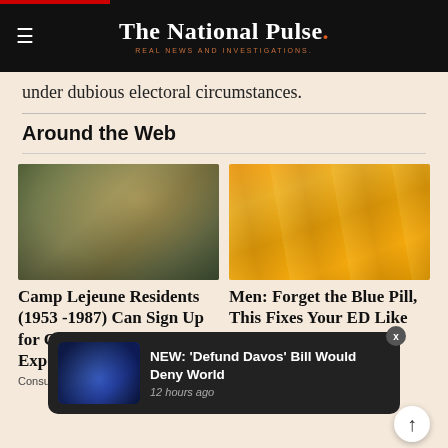The National Pulse. REAL NEWS AND INVESTIGATIONS.
under dubious electoral circumstances.
Around the Web
[Figure (photo): Soldier in military gear holding a grenade, with another soldier in the background]
Camp Lejeune Residents (1953 -1987) Can Sign Up for Compensation for Exposure
Consumer Coalition
[Figure (photo): Multiple bottles of Bragg Apple Cider Vinegar lined up]
Men: Forget the Blue Pill, This Fixes Your ED Like Crazy (Do This)
[Figure (screenshot): Notification popup: NEW: 'Defund Davos' Bill Would Deny World - 12 hours ago]